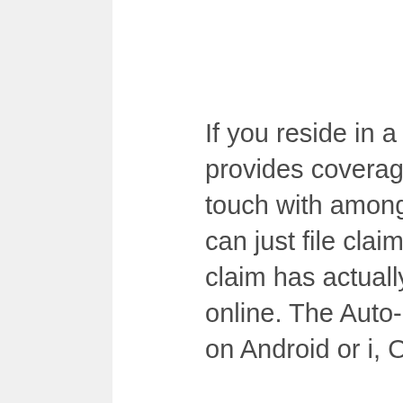If you reside in a state where Auto-Owners provides coverage, you'll be directed to get in touch with among its agents to settle the rate. You can just file claims by calling an agent. Once the claim has actually been filed you can track it online. The Auto-Owners app is readily available on Android or i, OS.
Often asked concerns What other kinds of insurance coverage does Auto-Owners provide? Auto-Owners has a variety of insurance coverage products, consisting of vehicle insurance, occupants insurance,